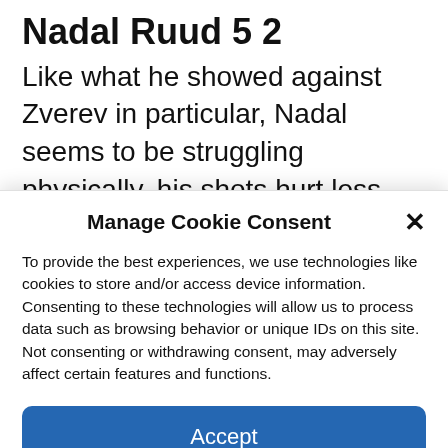Nadal Ruud 5 2
Like what he showed against Zverev in particular, Nadal seems to be struggling physically, his shots hurt less today. The Spaniard still won his service game and got closer to winning the first set.
Manage Cookie Consent
To provide the best experiences, we use technologies like cookies to store and/or access device information. Consenting to these technologies will allow us to process data such as browsing behavior or unique IDs on this site. Not consenting or withdrawing consent, may adversely affect certain features and functions.
Accept
Cookie Policy